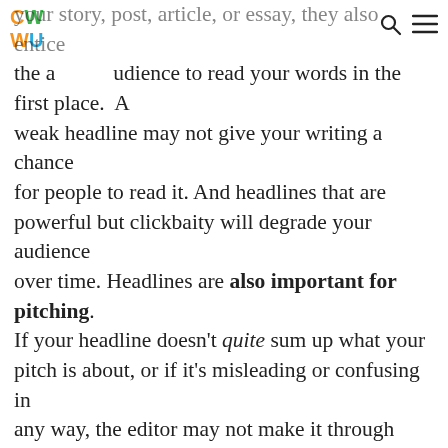CWWU logo with search and menu icons
your story, post, article, or essay, they also entice the audience to read your words in the first place. A weak headline may not give your writing a chance for people to read it. And headlines that are powerful but clickbaity will degrade your audience over time. Headlines are also important for pitching. If your headline doesn't quite sum up what your pitch is about, or if it's misleading or confusing in any way, the editor may not make it through your entire pitch.

A good headline is strong, authentic, and enticing. But headline writing can be trickier than it seems. Much of it is subjective — what one reader might find intriguing, another might find completely boring. Headlines can also be misleading when they don't deliver what the promise of attention the reader